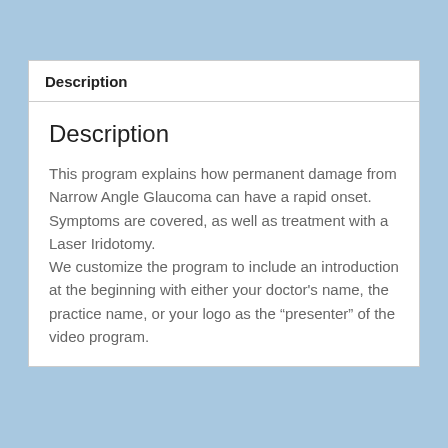Description
Description
This program explains how permanent damage from Narrow Angle Glaucoma can have a rapid onset. Symptoms are covered, as well as treatment with a Laser Iridotomy.
We customize the program to include an introduction at the beginning with either your doctor’s name, the practice name, or your logo as the “presenter” of the video program.